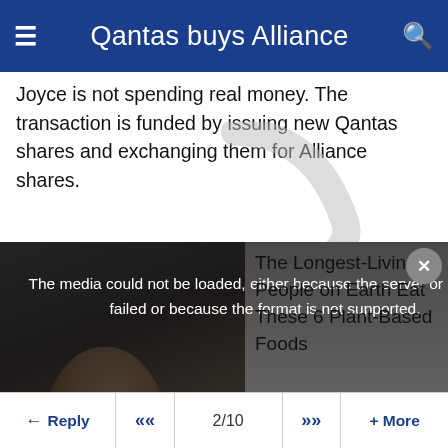Qantas buys Alliance
Joyce is not spending real money. The transaction is funded by issuing new Qantas shares and exchanging them for Alliance shares.
[Figure (screenshot): Media player error overlay showing 'The media could not be loaded, either because the server or network failed or because the format is not supported.' with a close X button, overlaid on an image of an elderly woman. An advertisement for 'The Longest-Living People on Earth Eat These 6 Plant-Based Foods' appears on the right side.]
← Reply  «  2/10  »  + More